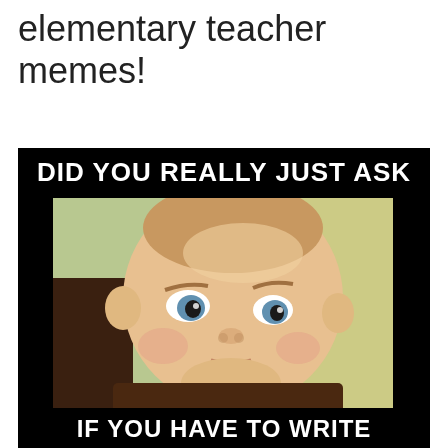elementary teacher memes!
[Figure (photo): A meme image with a black background featuring a baby with a skeptical expression, with white bold text reading 'DID YOU REALLY JUST ASK' at the top and 'IF YOU HAVE TO WRITE' at the bottom, implying 'if you have to write your name on it...' — an elementary teacher meme.]